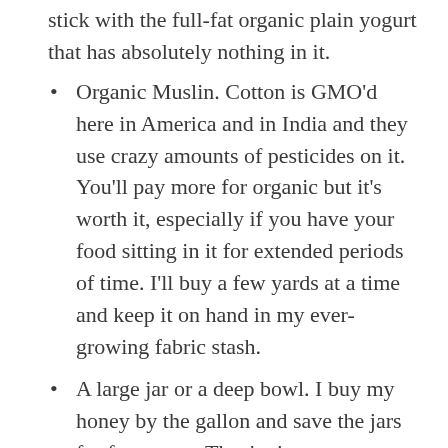stick with the full-fat organic plain yogurt that has absolutely nothing in it.
Organic Muslin. Cotton is GMO'd here in America and in India and they use crazy amounts of pesticides on it. You'll pay more for organic but it's worth it, especially if you have your food sitting in it for extended periods of time. I'll buy a few yards at a time and keep it on hand in my ever-growing fabric stash.
A large jar or a deep bowl. I buy my honey by the gallon and save the jars for future use. They're just so so handy. Especially when you need something to hang your yogurt bag off of and don't feel like cleaning up whey splash in the morning.
Enough about that, here's the complete tool list and the how-to for....